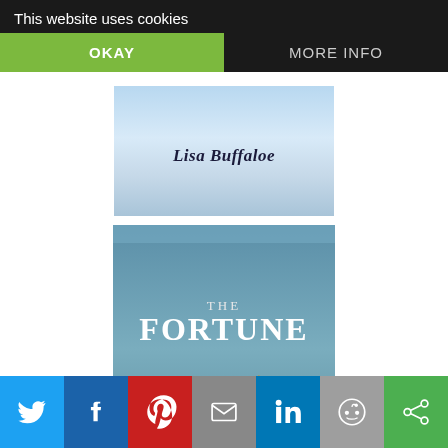This website uses cookies
OKAY
MORE INFO
[Figure (photo): Book cover top portion showing author name 'Lisa Buffaloe' with sky background]
[Figure (photo): Book cover for 'The Fortune' by Lisa Buffaloe showing fortune cookies on teal background]
[Figure (infographic): Social media share bar with Twitter, Facebook, Pinterest, Email, LinkedIn, Reddit, and copy link buttons]